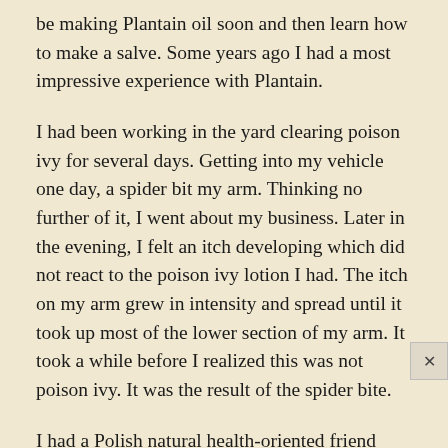be making Plantain oil soon and then learn how to make a salve. Some years ago I had a most impressive experience with Plantain.
I had been working in the yard clearing poison ivy for several days. Getting into my vehicle one day, a spider bit my arm. Thinking no further of it, I went about my business. Later in the evening, I felt an itch developing which did not react to the poison ivy lotion I had. The itch on my arm grew in intensity and spread until it took up most of the lower section of my arm. It took a while before I realized this was not poison ivy. It was the result of the spider bite.
I had a Polish natural health-oriented friend whose mother operated a health center in Poland. My friend went out to her yard, picked Plantain leaves and mashed them...